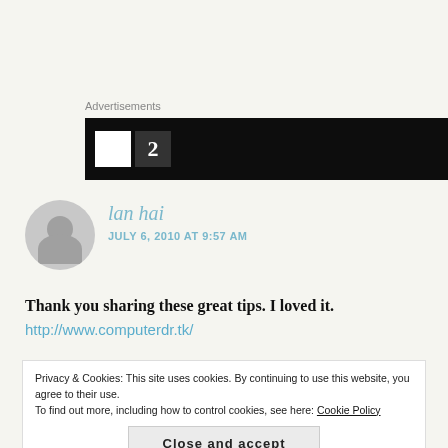Advertisements
[Figure (screenshot): Dark advertisement banner with partial white graphic on black background]
lan hai
JULY 6, 2010 AT 9:57 AM
Thank you sharing these great tips. I loved it.
http://www.computerdr.tk/
Privacy & Cookies: This site uses cookies. By continuing to use this website, you agree to their use.
To find out more, including how to control cookies, see here: Cookie Policy
Close and accept